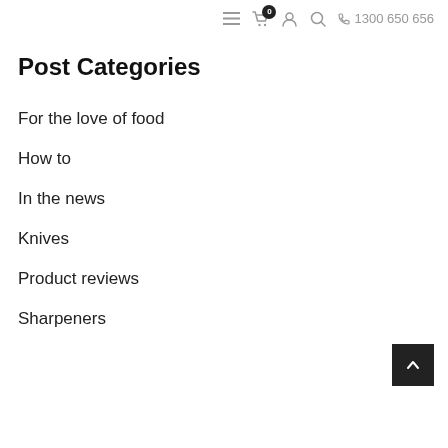Navigation bar with hamburger menu, cart (0), user icon, search icon, phone 1300 650 656
Post Categories
For the love of food
How to
In the news
Knives
Product reviews
Sharpeners